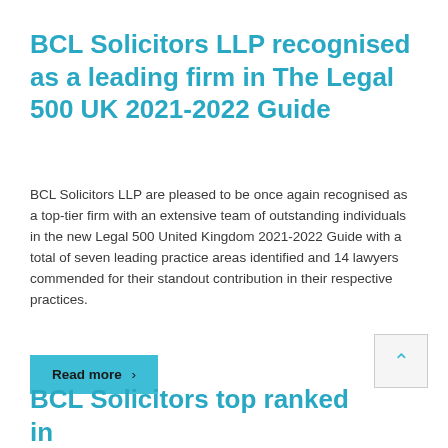BCL Solicitors LLP recognised as a leading firm in The Legal 500 UK 2021-2022 Guide
BCL Solicitors LLP are pleased to be once again recognised as a top-tier firm with an extensive team of outstanding individuals in the new Legal 500 United Kingdom 2021-2022 Guide with a total of seven leading practice areas identified and 14 lawyers commended for their standout contribution in their respective practices.
Read more ›
BCL Solicitors top ranked in